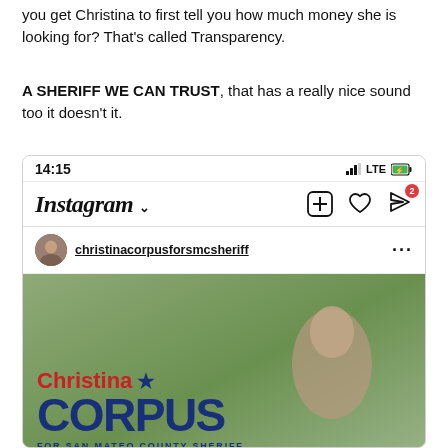you get Christina to first tell you how much money she is looking for? That's called Transparency.
A SHERIFF WE CAN TRUST, that has a really nice sound too it doesn't it.
[Figure (screenshot): Screenshot of an Instagram post from christinacorpusforsmcsheriff showing a campaign image for Christina Corpus for San Mateo County Sheriff with tagline 'A SHERIFF WE CAN TRUST'. The screenshot shows the Instagram app interface with status bar showing 14:15 and LTE, the Instagram logo and icons, the username christinacorpusforsmcsheriff, and the campaign image with 'Christina ★ CORPUS FOR SAN MATEO COUNTY SHERIFF A SHERIFF WE CAN TRUST' text over a photo.]